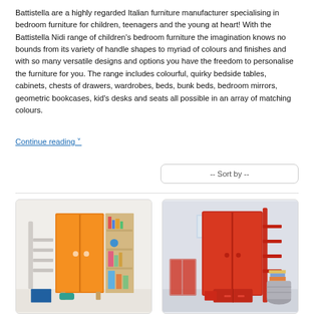Battistella are a highly regarded Italian furniture manufacturer specialising in bedroom furniture for children, teenagers and the young at heart! With the Battistella Nidi range of children's bedroom furniture the imagination knows no bounds from its variety of handle shapes to myriad of colours and finishes and with so many versatile designs and options you have the freedom to personalise the furniture for you. The range includes colourful, quirky bedside tables, cabinets, chests of drawers, wardrobes, beds, bunk beds, bedroom mirrors, geometric bookcases, kid's desks and seats all possible in an array of matching colours.
Continue reading ˅
-- Sort by --
[Figure (photo): Orange children's wardrobe with open shelving unit beside it, on light background]
[Figure (photo): Red children's wardrobe with bunk bed ladder visible, in a children's bedroom]